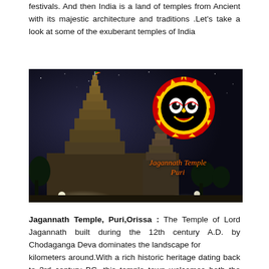festivals. And then India is a land of temples from Ancient with its majestic architecture and traditions .Let's take a look at some of the exuberant temples of India
[Figure (photo): Jagannath Temple Puri at night with illuminated tower and overlaid Jagannath face logo in red and white, with text 'Jagannath Temple Puri' in orange italic]
Jagannath Temple, Puri,Orissa : The Temple of Lord Jagannath built during the 12th century A.D. by Chodaganga Deva dominates the landscape for
kilometers around.With a rich historic heritage dating back to 3rd century BC, this temple town welcomes both the pilgrims and fun seekers with open